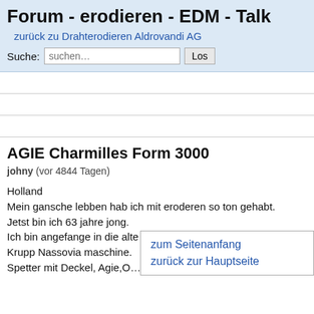Forum - erodieren - EDM - Talk
zurück zu Drahterodieren Aldrovandi AG
Suche: suchen... Los
AGIE Charmilles Form 3000
johny (vor 4844 Tagen)
Holland
Mein gansche lebben hab ich mit eroderen so ton gehabt.
Jetst bin ich 63 jahre jong.
Ich bin angefange in die alte von 18 jahre mit diese arbeid mit Krupp Nassovia maschine.
Spetter mit Deckel, Agie,O... maschine in senken und Sr...
zum Seitenanfang
zurück zur Hauptseite